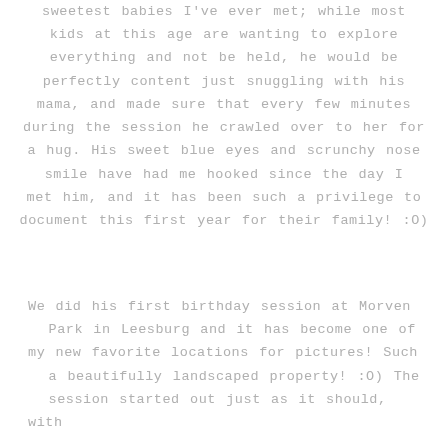sweetest babies I've ever met; while most kids at this age are wanting to explore everything and not be held, he would be perfectly content just snuggling with his mama, and made sure that every few minutes during the session he crawled over to her for a hug. His sweet blue eyes and scrunchy nose smile have had me hooked since the day I met him, and it has been such a privilege to document this first year for their family! :O)
We did his first birthday session at Morven Park in Leesburg and it has become one of my new favorite locations for pictures! Such a beautifully landscaped property! :O) The session started out just as it should, with